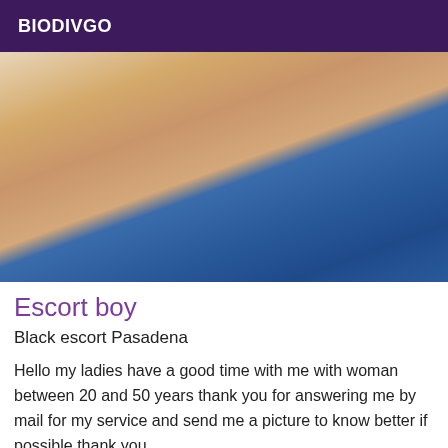BIODIVGO
[Figure (photo): Close-up photo of a person's torso wearing a blue garment, skin visible above it, photographed from above]
Escort boy
Black escort Pasadena
Hello my ladies have a good time with me with woman between 20 and 50 years thank you for answering me by mail for my service and send me a picture to know better if possible thank you.